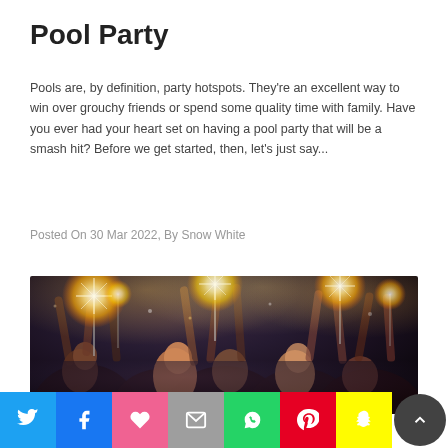Pool Party
Pools are, by definition, party hotspots. They're an excellent way to win over grouchy friends or spend some quality time with family. Have you ever had your heart set on having a pool party that will be a smash hit? Before we get started, then, let's just say...
Posted On 30 Mar 2022, By Snow White
[Figure (photo): People at a party holding sparklers in the air, with a warm glowing light from the sparklers illuminating the crowd. A person in the foreground appears to be kissing or very close to another person.]
Social share bar with Twitter, Facebook, Heart/Like, Email, WhatsApp, Pinterest, Snapchat buttons and a scroll-to-top button